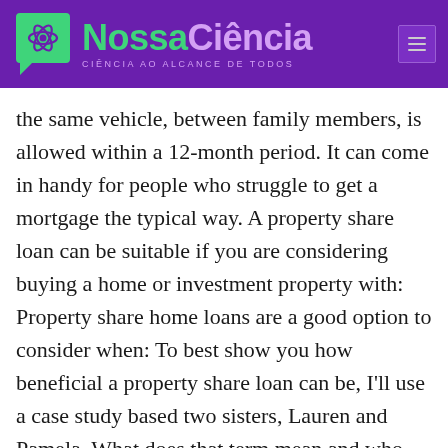NossaCiência — CIÊNCIA AO ALCANCE DE TODOS
the same vehicle, between family members, is allowed within a 12-month period. It can come in handy for people who struggle to get a mortgage the typical way. A property share loan can be suitable if you are considering buying a home or investment property with: Property share home loans are a good option to consider when: To best show you how beneficial a property share loan can be, I'll use a case study based two sisters, Lauren and Pamela. What does that term mean and who does it affect? You don't report any of your rental income. If the vehicle is registered to a family trust, you must also submit a Trustee Appointment and Powers Affidavit (VP 188) or court-certified trust documents. In a private sale: the property is advertised and prospective buyers are invited to make offers; you and the buyer agree on a sale price through negotiation, usually with assistance from an